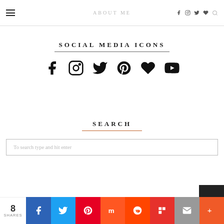ABOUT ME
SOCIAL MEDIA ICONS
[Figure (infographic): Six social media icons in a row: Facebook, Instagram, Twitter, Pinterest, Bloglovin (heart), YouTube]
SEARCH
To search type and hit enter
8 SHARES | Share buttons: Facebook, Twitter, Pinterest, Mix, Reddit, Flipboard, Mail, More